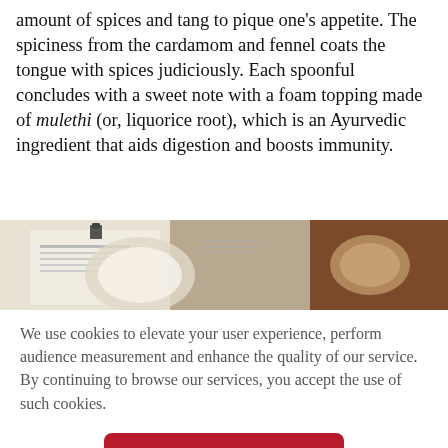This light-tasting clear tomato broth has the right amount of spices and tang to pique one's appetite. The spiciness from the cardamom and fennel coats the tongue with spices judiciously. Each spoonful concludes with a sweet note with a foam topping made of mulethi (or, liquorice root), which is an Ayurvedic ingredient that aids digestion and boosts immunity.
[Figure (photo): A partial overhead photo showing a table with papers/menu and food items, cropped at the top and bottom edges.]
We use cookies to elevate your user experience, perform audience measurement and enhance the quality of our service. By continuing to browse our services, you accept the use of such cookies.
Accept